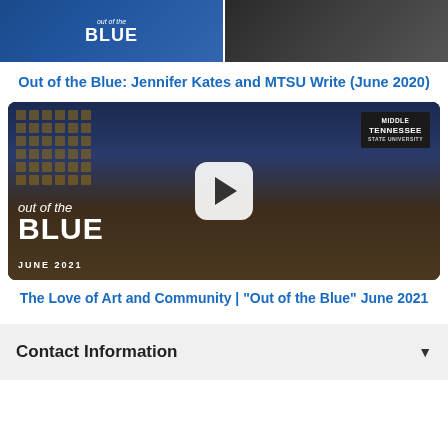[Figure (photo): Top portion of two video thumbnails: left shows 'Out of the Blue' logo on blue background, right shows partial view of a person in dark jacket]
Out of the Blue: Jennifer Kates and MTSU Write (June 2020)
[Figure (screenshot): Video thumbnail for 'Out of the Blue' June 2021 episode showing TV studio with two guests at a desk, MTSU branding, play button overlay, and 'out of the BLUE JUNE 2021' text]
The Love of Art and Community | "Out of the Blue" June 2021
Contact Information